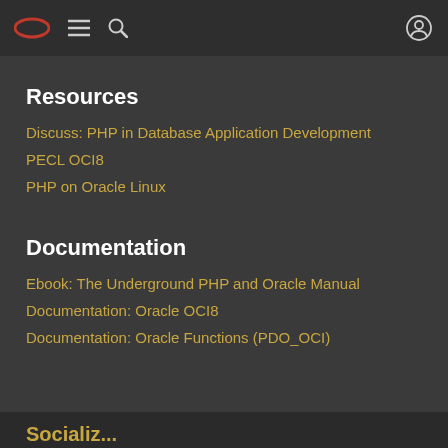Oracle navigation header with logo, menu, search, and user icons
Resources
Discuss: PHP in Database Application Development
PECL OCI8
PHP on Oracle Linux
Documentation
Ebook: The Underground PHP and Oracle Manual
Documentation: Oracle OCI8
Documentation: Oracle Functions (PDO_OCI)
Socializ... (partial text cut off)